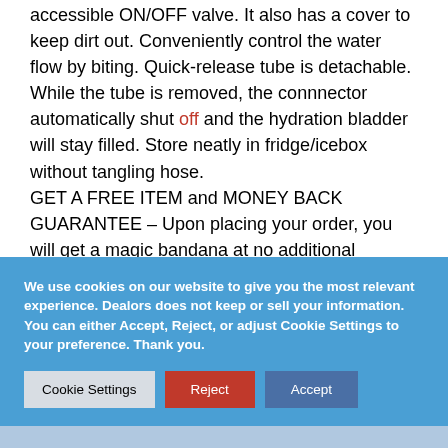accessible ON/OFF valve. It also has a cover to keep dirt out. Conveniently control the water flow by biting. Quick-release tube is detachable. While the tube is removed, the connnector automatically shut off and the hydration bladder will stay filled. Store neatly in fridge/icebox without tangling hose. GET A FREE ITEM and MONEY BACK GUARANTEE – Upon placing your order, you will get a magic bandana at no additional charge. Your purchase is backed by our 100% REFUND PROMISE. If you are not absolutely happy with
We use cookies on our website to give you the most relevant experience. Dealors does not keep or sell your information. You can either Accept, Reject, or adjust Cookie Settings to your preference. Thank you.